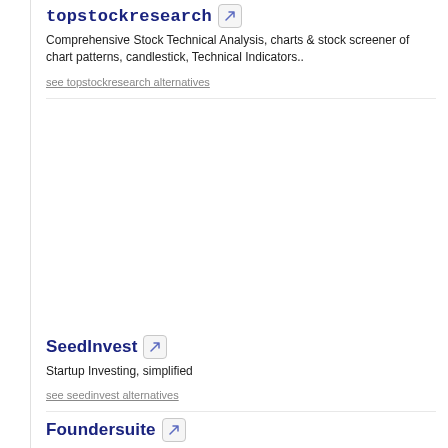topstockresearch
Comprehensive Stock Technical Analysis, charts & stock screener of chart patterns, candlestick, Technical Indicators..
see topstockresearch alternatives
SeedInvest
Startup Investing, simplified
see seedinvest alternatives
Foundersuite
Foundersuite Makes Awesome Tools For Awesome Startups.
see foundersuite alternatives
Slidescamp
Library of PowerPoint slides to kickstart your presentation.